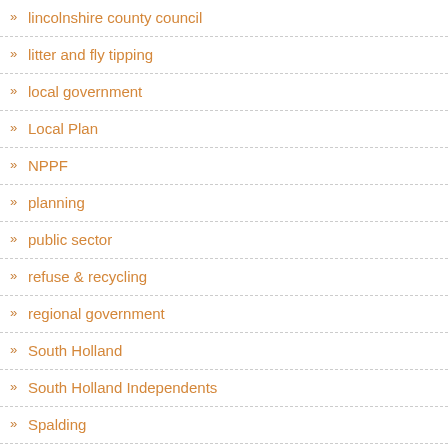lincolnshire county council
litter and fly tipping
local government
Local Plan
NPPF
planning
public sector
refuse & recycling
regional government
South Holland
South Holland Independents
Spalding
Spalding in general
Spalding Wygate ward